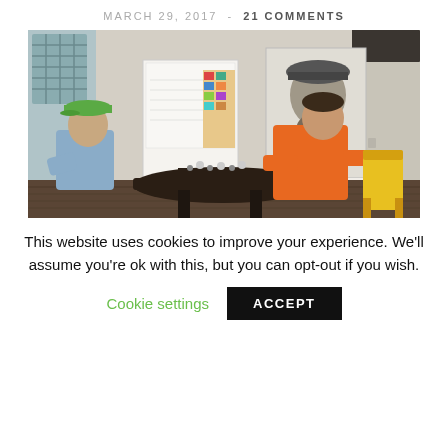MARCH 29, 2017  -  21 COMMENTS
[Figure (photo): Two men playing chess at a dark wooden table inside a room. The man on the left wears a green cap and blue shirt; the man on the right wears an orange shirt. In the background there is a whiteboard/easel and a large black-and-white portrait poster of a bearded man (Che Guevara) on the wall. A yellow chair is visible on the right.]
This website uses cookies to improve your experience. We'll assume you're ok with this, but you can opt-out if you wish.
Cookie settings   ACCEPT